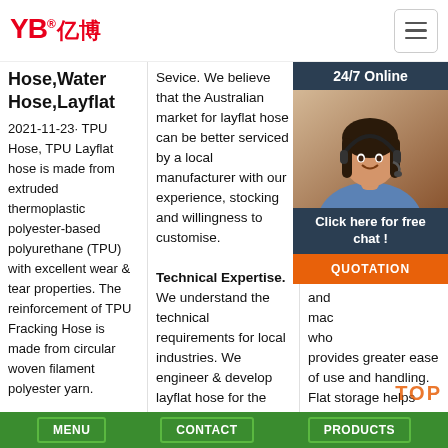YB亿博® logo and navigation hamburger
Hose,Water Hose,Layflat
2021-11-23u2002·u2002TPU Hose, TPU Layflat hose is made from extruded thermoplastic polyester-based polyurethane (TPU) with excellent wear & tear properties. The reinforcement of TPU Fracking Hose is made from circular woven filament polyester yarn.
Sevice. We believe that the Australian market for layflat hose can be better serviced by a local manufacturer with our experience, stocking and willingness to customise. Technical Expertise. We understand the technical requirements for local industries. We engineer & develop layflat hose for the harsh Australian environment.
[Figure (photo): 24/7 Online chat widget with photo of female customer service agent wearing headset, dark background panel with 'Click here for free chat!' text and orange QUOTATION button]
polyester fibre reinforcement gives this excellent tensile strength, resistance to robust handling, dense weave, excellent resistance to UV degradation, crush resistance and lightweight – making it ideal for wholesale use which provides greater ease of use and handling. Flat storage helps reduce clutter.
Green bottom bar with navigation buttons